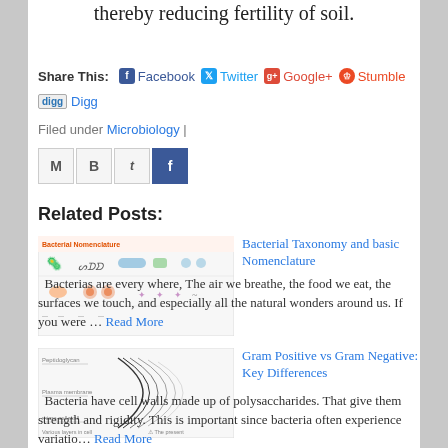thereby reducing fertility of soil.
Share This: Facebook Twitter Google+ Stumble Digg
Filed under Microbiology |
[Figure (screenshot): Social sharing icon buttons: M, B, t, f]
Related Posts:
[Figure (illustration): Bacterial Nomenclature thumbnail image showing various bacteria shapes and labels]
Bacterial Taxonomy and basic Nomenclature  Bacterias are every where, The air we breathe, the food we eat, the surfaces we touch, and especially all the natural wonders around us. If you were … Read More
[Figure (illustration): Gram Positive vs Gram Negative thumbnail showing cell wall layers diagram]
Gram Positive vs Gram Negative: Key Differences  Bacteria have cell walls made up of polysaccharides. That give them strength and rigidity. This is important since bacteria often experience variatio… Read More